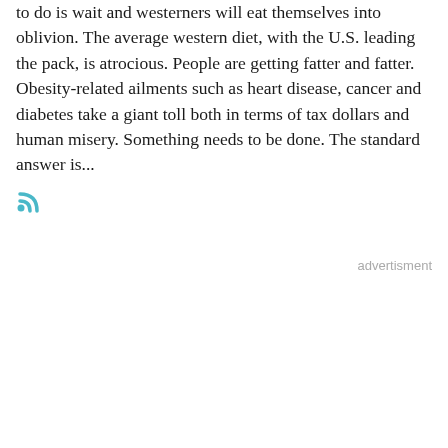to do is wait and westerners will eat themselves into oblivion. The average western diet, with the U.S. leading the pack, is atrocious. People are getting fatter and fatter. Obesity-related ailments such as heart disease, cancer and diabetes take a giant toll both in terms of tax dollars and human misery. Something needs to be done. The standard answer is...
[Figure (other): RSS feed icon in cyan/teal color]
advertisment